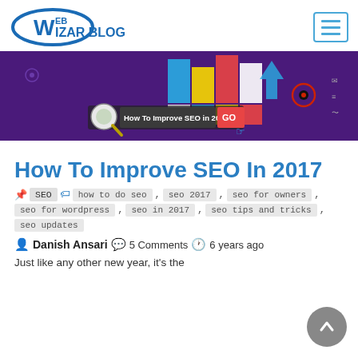Web Wizar Blog
[Figure (screenshot): Hero banner image for 'How To Improve SEO in 2017' blog post, showing colorful bar chart graphic with a search bar and GO button on purple background]
How To Improve SEO In 2017
📌 SEO 🏷 how to do seo , seo 2017 , seo for owners , seo for wordpress , seo in 2017 , seo tips and tricks , seo updates
👤 Danish Ansari 💬 5 Comments 🕐 6 years ago
Just like any other new year, it's the